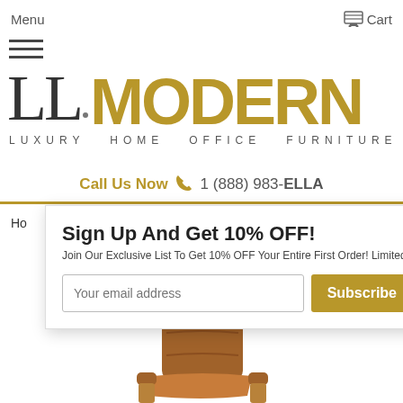Menu   Cart
[Figure (logo): Ella Modern Luxury Home Office Furniture logo with stylized text. ELLA in dark/gray serif, MODERN in gold bold sans-serif, tagline LUXURY HOME OFFICE FURNITURE below.]
Call Us Now  1 (888) 983-ELLA
Sign Up And Get 10% OFF!
Join Our Exclusive List To Get 10% OFF Your Entire First Order! Limited
Your email address   Subscribe
^ Back To Top